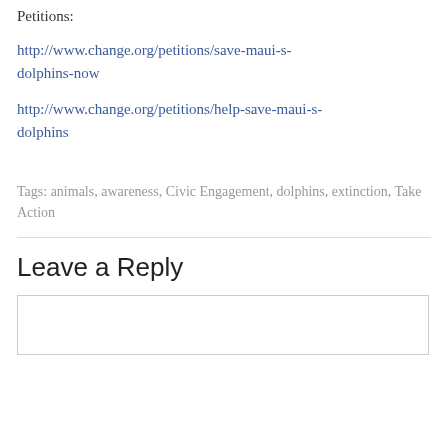Petitions:
http://www.change.org/petitions/save-maui-s-dolphins-now
http://www.change.org/petitions/help-save-maui-s-dolphins
Tags: animals, awareness, Civic Engagement, dolphins, extinction, Take Action
Leave a Reply